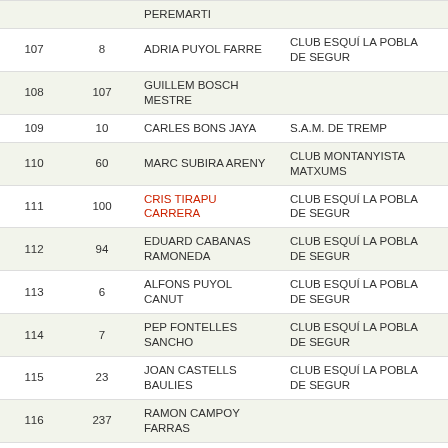| # | Bib | Name | Club | Year | Cat |
| --- | --- | --- | --- | --- | --- |
|  |  | PEREMARTI |  |  |  |
| 107 | 8 | ADRIA PUYOL FARRE | CLUB ESQUÍ LA POBLA DE SEGUR | 1997 | Ho |
| 108 | 107 | GUILLEM BOSCH MESTRE |  | 1999 | Ho |
| 109 | 10 | CARLES BONS JAYA | S.A.M. DE TREMP | 1962 | Ho |
| 110 | 60 | MARC SUBIRA ARENY | CLUB MONTANYISTA MATXUMS | 1977 | Ho |
| 111 | 100 | CRIS TIRAPU CARRERA | CLUB ESQUÍ LA POBLA DE SEGUR | 1964 | Do |
| 112 | 94 | EDUARD CABANAS RAMONEDA | CLUB ESQUÍ LA POBLA DE SEGUR | 1966 | Ho |
| 113 | 6 | ALFONS PUYOL CANUT | CLUB ESQUÍ LA POBLA DE SEGUR | 1957 | Ho |
| 114 | 7 | PEP FONTELLES SANCHO | CLUB ESQUÍ LA POBLA DE SEGUR | 1958 | Ho |
| 115 | 23 | JOAN CASTELLS BAULIES | CLUB ESQUÍ LA POBLA DE SEGUR | 1959 | Ho |
| 116 | 237 | RAMON CAMPOY FARRAS |  | 1959 | Ho |
| 117 | 40 | SARA HAMILL |  | 1965 | Do |
| 118 |  |  | CLUB ESQUÍ LA |  |  |